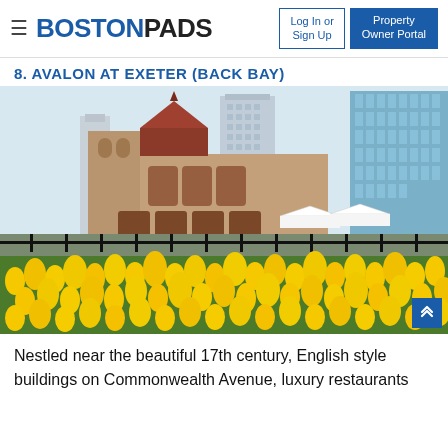BOSTONPADS — Log In or Sign Up | Property Owner Portal
8. AVALON AT EXETER (BACK BAY)
[Figure (photo): Photograph of Copley Square, Back Bay, Boston showing Trinity Church (Romanesque Revival) with its distinctive red-roofed tower, surrounded by modern skyscrapers. In the foreground is a bed of bright yellow tulips along a lawn, with white event tents and trees visible in the background under a pale sky.]
Nestled near the beautiful 17th century, English style buildings on Commonwealth Avenue, luxury restaurants